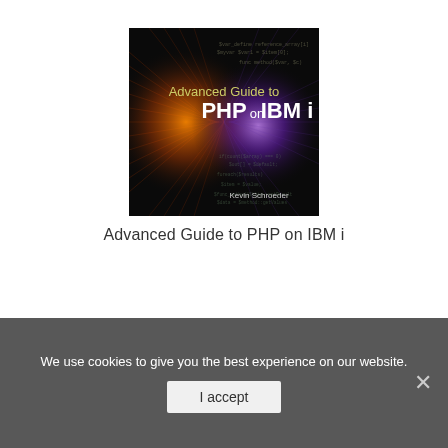[Figure (illustration): Book cover for 'Advanced Guide to PHP on IBM i' by Kevin Schroeder. Dark background with orange and purple light beam, code text overlaid. Title text in gold/white on cover.]
Advanced Guide to PHP on IBM i
We use cookies to give you the best experience on our website.
I accept